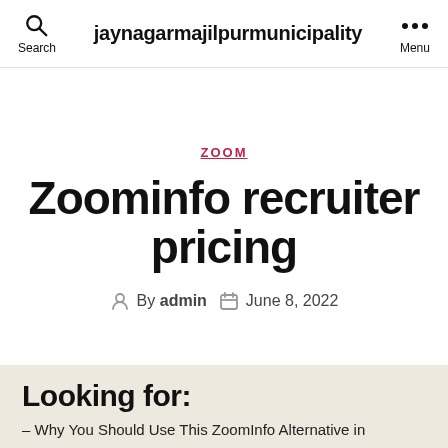jaynagarmajilpurmunicipality
ZOOM
Zoominfo recruiter pricing
By admin  June 8, 2022
Looking for:
– Why You Should Use This ZoomInfo Alternative in